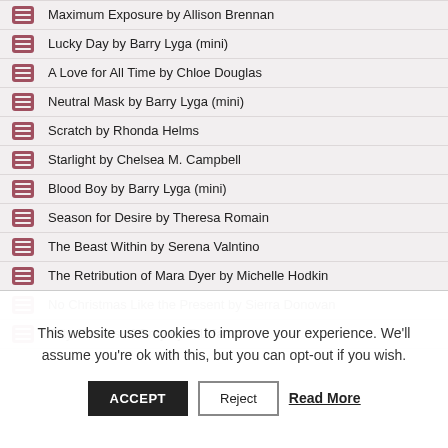Maximum Exposure by Allison Brennan
Lucky Day by Barry Lyga (mini)
A Love for All Time by Chloe Douglas
Neutral Mask by Barry Lyga (mini)
Scratch by Rhonda Helms
Starlight by Chelsea M. Campbell
Blood Boy by Barry Lyga (mini)
Season for Desire by Theresa Romain
The Beast Within by Serena Valntino
The Retribution of Mara Dyer by Michelle Hodkin
No Christmas Like the Present by Sierra Donovan
Fifty Shades of Grey by E L James
This website uses cookies to improve your experience. We'll assume you're ok with this, but you can opt-out if you wish.
ACCEPT | Reject | Read More